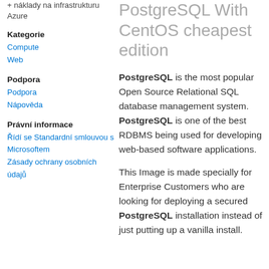+ náklady na infrastrukturu Azure
Kategorie
Compute
Web
Podpora
Podpora
Nápověda
Právní informace
Řídí se Standardní smlouvou s Microsoftem
Zásady ochrany osobních údajů
PostgreSQL With CentOS cheapest edition
PostgreSQL is the most popular Open Source Relational SQL database management system. PostgreSQL is one of the best RDBMS being used for developing web-based software applications.
This Image is made specially for Enterprise Customers who are looking for deploying a secured PostgreSQL installation instead of just putting up a vanilla install.